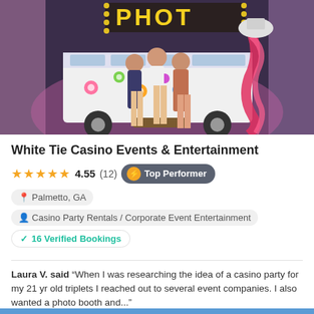[Figure (photo): Photo of three young women posing in front of a decorated VW bus photo booth with flower stickers and a lit 'PHOTO' marquee sign on top, colorful props including a feather boa visible on the right.]
White Tie Casino Events & Entertainment
★★★★★ 4.55 (12) ⚡ Top Performer
📍 Palmetto, GA
👤 Casino Party Rentals / Corporate Event Entertainment
✓ 16 Verified Bookings
Laura V. said "When I was researching the idea of a casino party for my 21 yr old triplets I reached out to several event companies. I also wanted a photo booth and..."